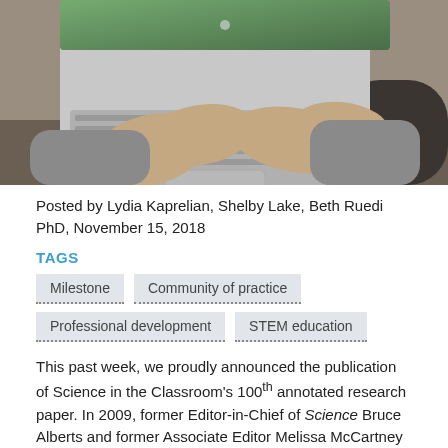[Figure (photo): Person typing on a MacBook Air laptop, viewed from above and behind, wearing a grey sweater, seated in a dark chair.]
Posted by Lydia Kaprelian, Shelby Lake, Beth Ruedi PhD, November 15, 2018
TAGS
Milestone
Community of practice
Professional development
STEM education
This past week, we proudly announced the publication of Science in the Classroom's 100th annotated research paper. In 2009, former Editor-in-Chief of Science Bruce Alberts and former Associate Editor Melissa McCartney